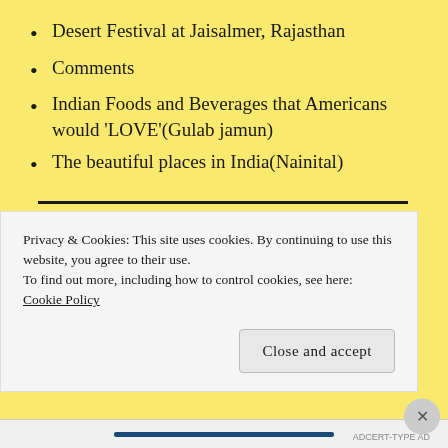Desert Festival at Jaisalmer, Rajasthan
Comments
Indian Foods and Beverages that Americans would 'LOVE'(Gulab jamun)
The beautiful places in India(Nainital)
CATEGORIES
Privacy & Cookies: This site uses cookies. By continuing to use this website, you agree to their use.
To find out more, including how to control cookies, see here: Cookie Policy
Close and accept